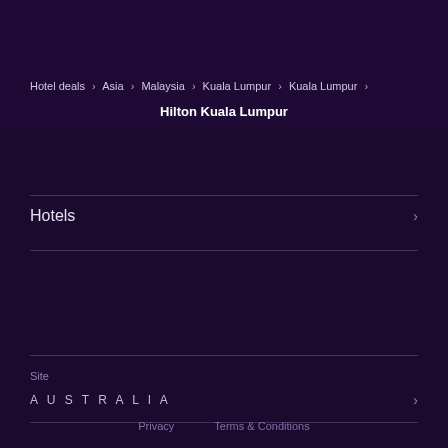Hotel deals > Asia > Malaysia > Kuala Lumpur > Kuala Lumpur > Hilton Kuala Lumpur
Hotels
Site
AUSTRALIA
Privacy   Terms & Conditions